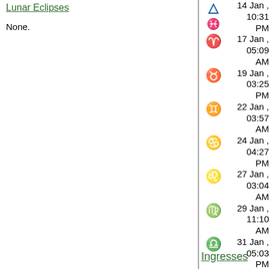Lunar Eclipses
None.
| Sign | Date/Time |
| --- | --- |
| ♓ (Pisces) | 14 Jan , 10:31 PM |
| ♈ (Aries) | 17 Jan , 05:09 AM |
| ♉ (Taurus) | 19 Jan , 03:25 PM |
| ♊ (Gemini) | 22 Jan , 03:57 AM |
| ♋ (Cancer) | 24 Jan , 04:27 PM |
| ♌ (Leo) | 27 Jan , 03:04 AM |
| ♍ (Virgo) | 29 Jan , 11:10 AM |
| ♎ (Libra) | 31 Jan , 05:03 PM |
Ingresses